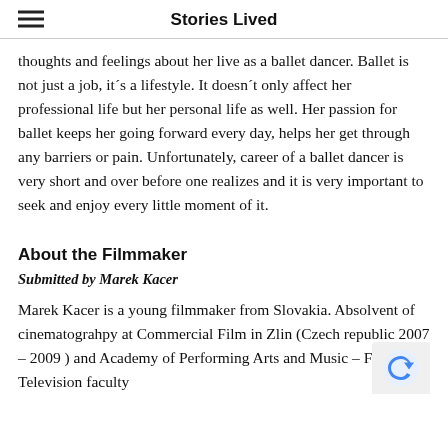Stories Lived
thoughts and feelings about her live as a ballet dancer. Ballet is not just a job, it´s a lifestyle. It doesn´t only affect her professional life but her personal life as well. Her passion for ballet keeps her going forward every day, helps her get through any barriers or pain. Unfortunately, career of a ballet dancer is very short and over before one realizes and it is very important to seek and enjoy every little moment of it.
About the Filmmaker
Submitted by Marek Kacer
Marek Kacer is a young filmmaker from Slovakia. Absolvent of cinematograhpy at Commercial Film in Zlin (Czech republic 2007 – 2009 ) and Academy of Performing Arts and Music – Film and Television faculty